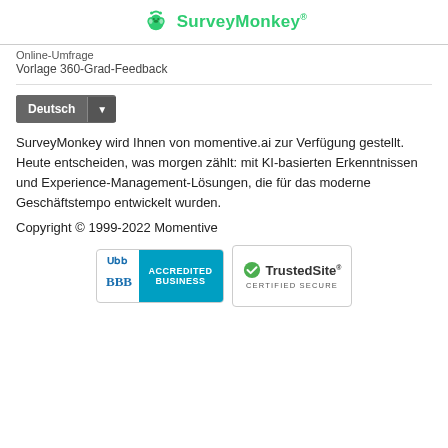[Figure (logo): SurveyMonkey logo with green monkey icon and green text]
Online-Umfrage
Vorlage 360-Grad-Feedback
[Figure (screenshot): Deutsch language selector button with dropdown arrow]
SurveyMonkey wird Ihnen von momentive.ai zur Verfügung gestellt. Heute entscheiden, was morgen zählt: mit KI-basierten Erkenntnissen und Experience-Management-Lösungen, die für das moderne Geschäftstempo entwickelt wurden.
Copyright © 1999-2022 Momentive
[Figure (logo): BBB Accredited Business badge and TrustedSite Certified Secure badge]